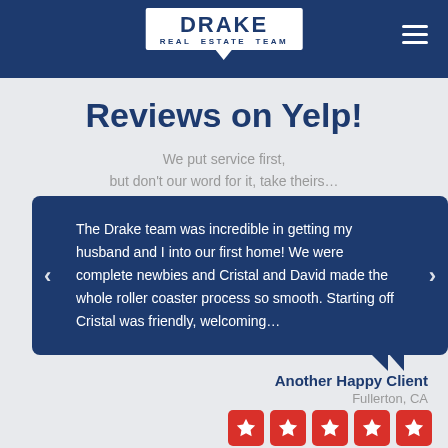DRAKE REAL ESTATE TEAM
Reviews on Yelp!
We put service first, but don't our word for it, take theirs…
The Drake team was incredible in getting my husband and I into our first home! We were complete newbies and Cristal and David made the whole roller coaster process so smooth. Starting off Cristal was friendly, welcoming…
Another Happy Client
Fullerton, CA
★★★★★